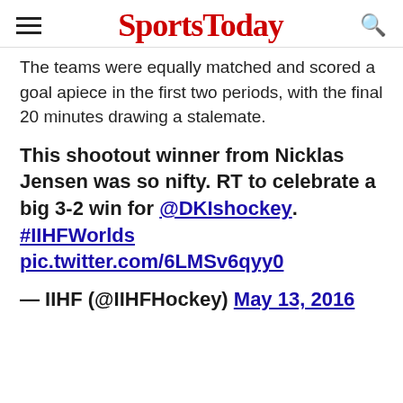SportsToday
The teams were equally matched and scored a goal apiece in the first two periods, with the final 20 minutes drawing a stalemate.
This shootout winner from Nicklas Jensen was so nifty. RT to celebrate a big 3-2 win for @DKIshockey. #IIHFWorlds pic.twitter.com/6LMSv6qyy0
— IIHF (@IIHFHockey) May 13, 2016